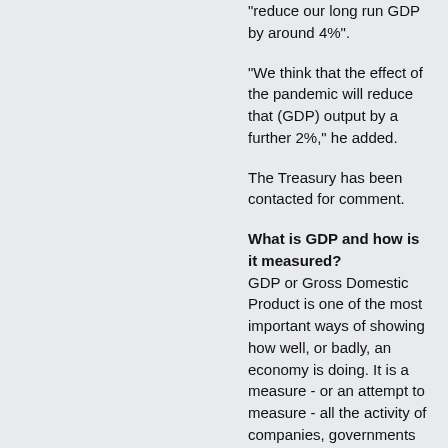"reduce our long run GDP by around 4%".
"We think that the effect of the pandemic will reduce that (GDP) output by a further 2%," he added.
The Treasury has been contacted for comment.
What is GDP and how is it measured? GDP or Gross Domestic Product is one of the most important ways of showing how well, or badly, an economy is doing. It is a measure - or an attempt to measure - all the activity of companies, governments and individuals in an